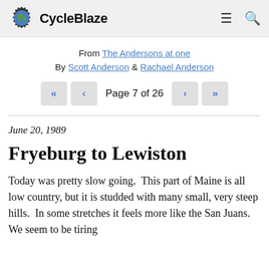CycleBlaze
From The Andersons at one
By Scott Anderson & Rachael Anderson
Page 7 of 26
June 20, 1989
Fryeburg to Lewiston
Today was pretty slow going.  This part of Maine is all low country, but it is studded with many small, very steep hills.  In some stretches it feels more like the San Juans.  We seem to be tiring